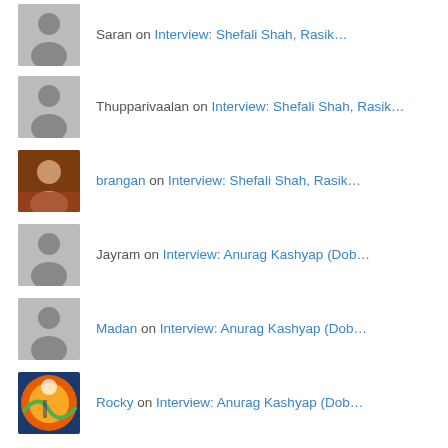Saran on Interview: Shefali Shah, Rasik…
Thupparivaalan on Interview: Shefali Shah, Rasik…
brangan on Interview: Shefali Shah, Rasik…
Jayram on Interview: Anurag Kashyap (Dob…
Madan on Interview: Anurag Kashyap (Dob…
Rocky on Interview: Anurag Kashyap (Dob…
Archives
Select Month
Categories